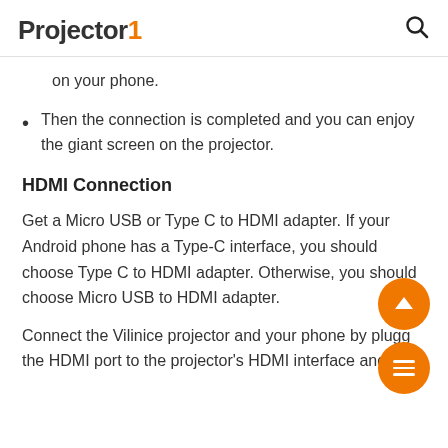Projector1 [search icon]
on your phone.
Then the connection is completed and you can enjoy the giant screen on the projector.
HDMI Connection
Get a Micro USB or Type C to HDMI adapter. If your Android phone has a Type-C interface, you should choose Type C to HDMI adapter. Otherwise, you should choose Micro USB to HDMI adapter.
Connect the Vilinice projector and your phone by plugging the HDMI port to the projector's HDMI interface and the